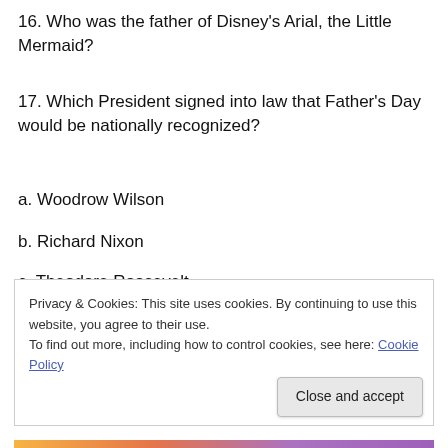16. Who was the father of Disney's Arial, the Little Mermaid?
17. Which President signed into law that Father's Day would be nationally recognized?
a. Woodrow Wilson
b. Richard Nixon
c. Theodore Roosevelt
d. John F. Kennedy
Privacy & Cookies: This site uses cookies. By continuing to use this website, you agree to their use.
To find out more, including how to control cookies, see here: Cookie Policy